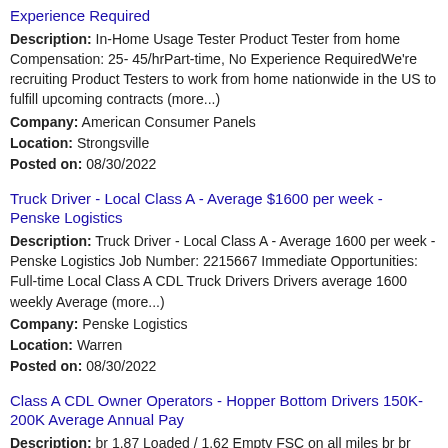Experience Required
Description: In-Home Usage Tester Product Tester from home Compensation: 25- 45/hrPart-time, No Experience RequiredWe're recruiting Product Testers to work from home nationwide in the US to fulfill upcoming contracts (more...)
Company: American Consumer Panels
Location: Strongsville
Posted on: 08/30/2022
Truck Driver - Local Class A - Average $1600 per week - Penske Logistics
Description: Truck Driver - Local Class A - Average 1600 per week - Penske Logistics Job Number: 2215667 Immediate Opportunities: Full-time Local Class A CDL Truck Drivers Drivers average 1600 weekly Average (more...)
Company: Penske Logistics
Location: Warren
Posted on: 08/30/2022
Class A CDL Owner Operators - Hopper Bottom Drivers 150K-200K Average Annual Pay
Description: br 1.87 Loaded / 1.62 Empty FSC on all miles br br Owner Operators - Regional and OTR Hopper Bottoms br br CALL 877 572-0493 TODAY br Oakley s Hopper jobs are perfect for Owner